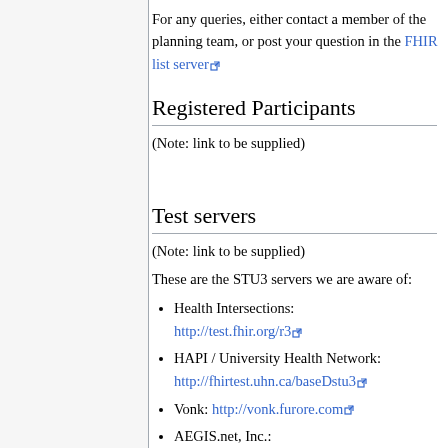For any queries, either contact a member of the planning team, or post your question in the FHIR list server
Registered Participants
(Note: link to be supplied)
Test servers
(Note: link to be supplied)
These are the STU3 servers we are aware of:
Health Intersections: http://test.fhir.org/r3
HAPI / University Health Network: http://fhirtest.uhn.ca/baseDstu3
Vonk: http://vonk.furore.com
AEGIS.net, Inc.: